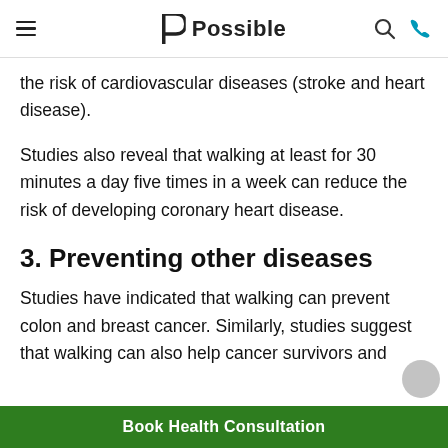Possible
the risk of cardiovascular diseases (stroke and heart disease).
Studies also reveal that walking at least for 30 minutes a day five times in a week can reduce the risk of developing coronary heart disease.
3. Preventing other diseases
Studies have indicated that walking can prevent colon and breast cancer. Similarly, studies suggest that walking can also help cancer survivors and
Book Health Consultation